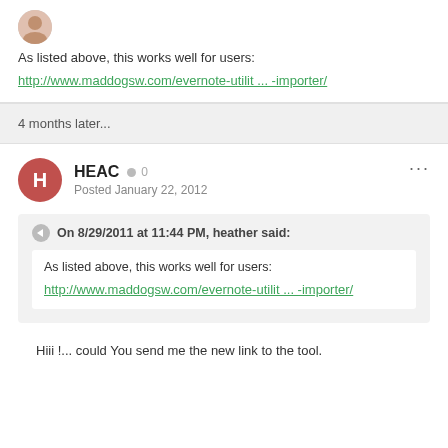As listed above, this works well for users:
http://www.maddogsw.com/evernote-utilit ... -importer/
4 months later...
HEAC  0
Posted January 22, 2012
On 8/29/2011 at 11:44 PM, heather said:
As listed above, this works well for users:
http://www.maddogsw.com/evernote-utilit ... -importer/
Hiii !... could You send me the new link to the tool.